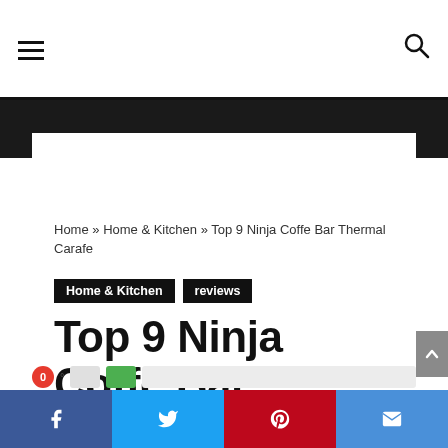Home » Home & Kitchen » Top 9 Ninja Coffe Bar Thermal Carafe
Home & Kitchen   reviews
Top 9 Ninja Coffe Bar Thermal Carafe
americaninntoledo  •  August 15, 2020  👁 1 💬
Facebook  Twitter  Pinterest  Email